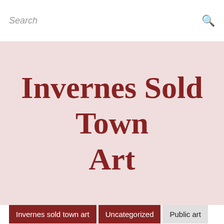Search
Invernes Sold Town Art
Invernes sold town art
Uncategorized
Public art
projects